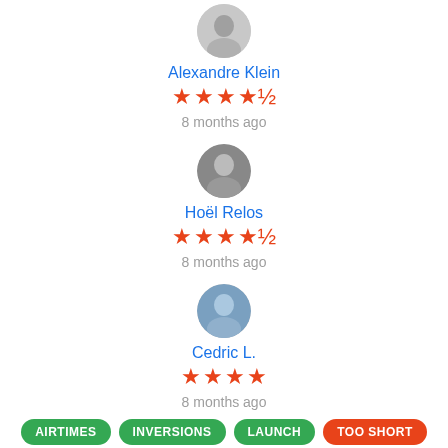[Figure (photo): Circular avatar photo of Alexandre Klein]
Alexandre Klein
[Figure (other): 3.5 star rating (orange stars)]
8 months ago
[Figure (photo): Circular avatar photo of Hoël Relos]
Hoël Relos
[Figure (other): 3.5 star rating (orange stars)]
8 months ago
[Figure (photo): Circular avatar photo of Cedric L.]
Cedric L.
[Figure (other): 4 star rating (orange stars)]
8 months ago
AIRTIMES
INVERSIONS
LAUNCH
TOO SHORT
[Figure (photo): Circular avatar photo (partial, bottom of page)]